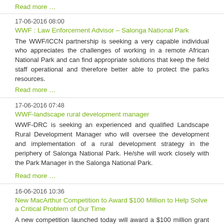Read more …
17-06-2016 08:00
WWF : Law Enforcement Advisor – Salonga National Park
The WWF/ICCN partnership is seeking a very capable individual who appreciates the challenges of working in a remote African National Park and can find appropriate solutions that keep the field staff operational and therefore better able to protect the parks resources.
Read more …
17-06-2016 07:48
WWF-landscape rural development manager
WWF-DRC is seeking an experienced and qualified Landscape Rural Development Manager who will oversee the development and implementation of a rural development strategy in the periphery of Salonga National Park. He/she will work closely with the Park Manager in the Salonga National Park.
Read more …
16-06-2016 10:36
New MacArthur Competition to Award $100 Million to Help Solve a Critical Problem of Our Time
A new competition launched today will award a $100 million grant to a single proposal designed to help solve a critical problem affecting people, places, or the planet. The Foundation's competition, called 100&Change, is open to organizations working in any field of endeavor anywhere. Applicants must identify both the problem they are trying to solve, as well as their proposed solution. Competitive proposals will be meaningful, verifiable, durable, and feasible.
Read more …